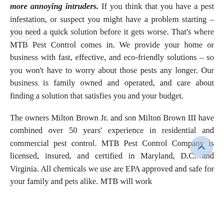more annoying intruders. If you think that you have a pest infestation, or suspect you might have a problem starting – you need a quick solution before it gets worse. That's where MTB Pest Control comes in. We provide your home or business with fast, effective, and eco-friendly solutions – so you won't have to worry about those pests any longer. Our business is family owned and operated, and care about finding a solution that satisfies you and your budget.

The owners Milton Brown Jr. and son Milton Brown III have combined over 50 years' experience in residential and commercial pest control. MTB Pest Control Company is licensed, insured, and certified in Maryland, D.C. and Virginia. All chemicals we use are EPA approved and safe for your family and pets alike. MTB will work